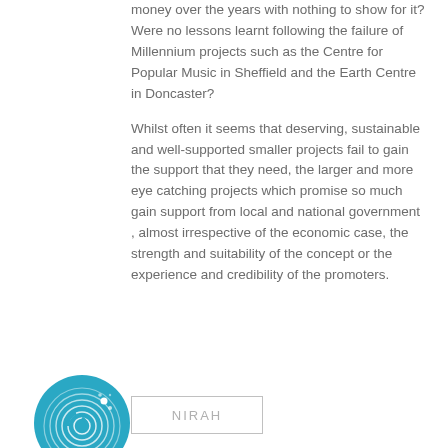money over the years with nothing to show for it? Were no lessons learnt following the failure of Millennium projects such as the Centre for Popular Music in Sheffield and the Earth Centre in Doncaster?
Whilst often it seems that deserving, sustainable and well-supported smaller projects fail to gain the support that they need, the larger and more eye catching projects which promise so much gain support from local and national government , almost irrespective of the economic case, the strength and suitability of the concept or the experience and credibility of the promoters.
[Figure (logo): Circular teal/blue logo with fingerprint and star design]
NIRAH